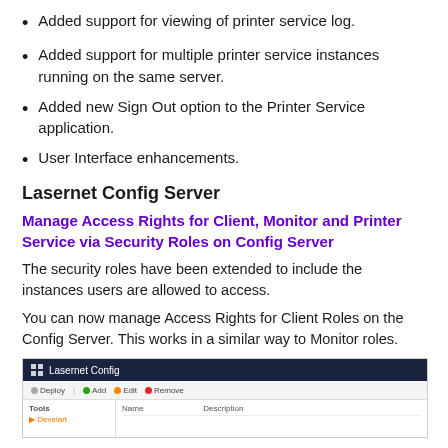Added support for viewing of printer service log.
Added support for multiple printer service instances running on the same server.
Added new Sign Out option to the Printer Service application.
User Interface enhancements.
Lasernet Config Server
Manage Access Rights for Client, Monitor and Printer Service via Security Roles on Config Server
The security roles have been extended to include the instances users are allowed to access.
You can now manage Access Rights for Client Roles on the Config Server. This works in a similar way to Monitor roles.
[Figure (screenshot): Screenshot of Lasernet Config application showing the toolbar with Deploy, Add, Edit, Remove buttons and a Tools panel on the left with a Name and Description column visible.]